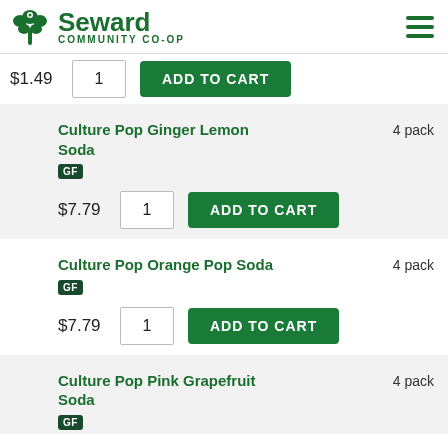[Figure (logo): Seward Community Co-op logo with tree icon and hamburger menu]
$1.49 | 1 | ADD TO CART
Culture Pop Ginger Lemon Soda | 4 pack | GF | $7.79 | 1 | ADD TO CART
Culture Pop Orange Pop Soda | 4 pack | GF | $7.79 | 1 | ADD TO CART
Culture Pop Pink Grapefruit Soda | 4 pack | GF